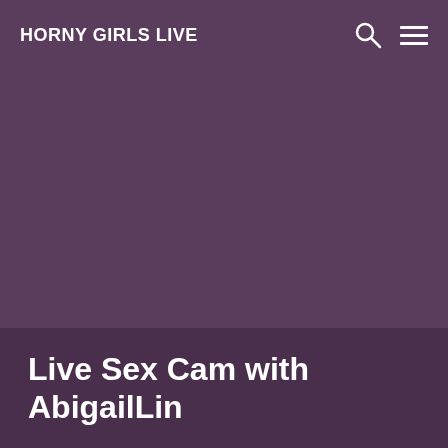HORNY GIRLS LIVE
Live Sex Cam with AbigailLin